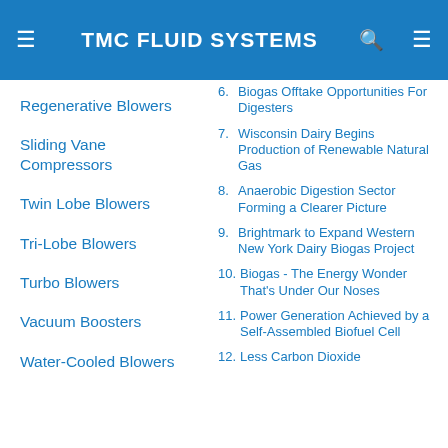TMC FLUID SYSTEMS
Regenerative Blowers
Sliding Vane Compressors
Twin Lobe Blowers
Tri-Lobe Blowers
Turbo Blowers
Vacuum Boosters
Water-Cooled Blowers
6. Biogas Offtake Opportunities For Digesters
7. Wisconsin Dairy Begins Production of Renewable Natural Gas
8. Anaerobic Digestion Sector Forming a Clearer Picture
9. Brightmark to Expand Western New York Dairy Biogas Project
10. Biogas - The Energy Wonder That's Under Our Noses
11. Power Generation Achieved by a Self-Assembled Biofuel Cell
12. Less Carbon Dioxide